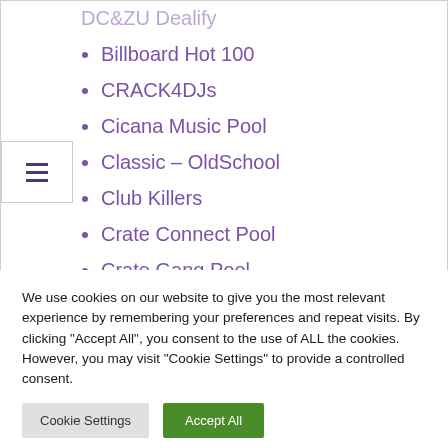Billboard Hot 100
CRACK4DJs
Cicana Music Pool
Classic – OldSchool
Club Killers
Crate Connect Pool
Crate Gang Pool
Crooklyn Clan
DJ CITY
DJ Music Pool
We use cookies on our website to give you the most relevant experience by remembering your preferences and repeat visits. By clicking "Accept All", you consent to the use of ALL the cookies. However, you may visit "Cookie Settings" to provide a controlled consent.